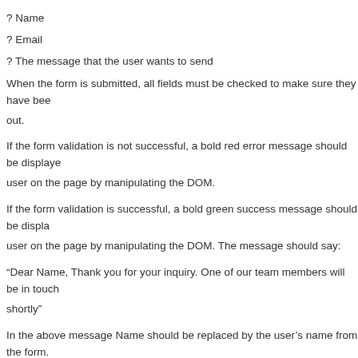? Name
? Email
? The message that the user wants to send
When the form is submitted, all fields must be checked to make sure they have been out.
If the form validation is not successful, a bold red error message should be displayed user on the page by manipulating the DOM.
If the form validation is successful, a bold green success message should be displayed user on the page by manipulating the DOM. The message should say:
“Dear Name, Thank you for your inquiry. One of our team members will be in touch shortly”
In the above message Name should be replaced by the user’s name from the form.
Part 4 – Contact form continued
Most forms on websites will usually have some sort of test to confirm that the user i